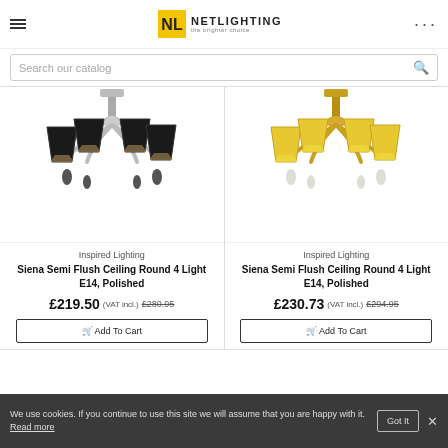[Figure (logo): Netlighting logo - NL monogram with text 'NETLIGHTING the brighter choice']
Search our catalog
[Figure (photo): Siena Semi Flush Ceiling chandelier with black shades and chrome/silver finish, 4 lights]
[Figure (photo): Siena Semi Flush Ceiling chandelier with yellow/gold shades and antique brass finish, 4 lights]
Inspired Lighting
Inspired Lighting
Siena Semi Flush Ceiling Round 4 Light E14, Polished
Siena Semi Flush Ceiling Round 4 Light E14, Polished
£219.50  (VAT incl.)  £280.95
£230.73  (VAT incl.)  £294.95
Add To Cart
Add To Cart
We use cookies. If you continue to use this site we will assume that you are happy with it. Read more